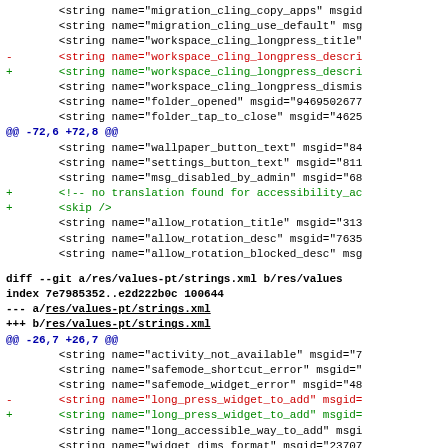Diff code showing changes to strings.xml files for workspace_cling and other translations
diff --git a/res/values-pt/strings.xml b/res/values-pt/strings.xml
index 7e7985352..e2d222b0c 100644
--- a/res/values-pt/strings.xml
+++ b/res/values-pt/strings.xml
@@ -26,7 +26,7 @@